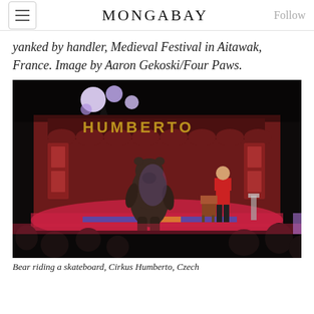MONGABAY
yanked by handler, Medieval Festival in Aitawak, France. Image by Aaron Gekoski/Four Paws.
[Figure (photo): A bear standing upright on a circus stage at Cirkus Humberto, Czech. A performer in a red jacket stands in the background. The stage has a sign reading 'HUMBERTO' with decorative red curtains and colorful stage lights.]
Bear riding a skateboard, Cirkus Humberto, Czech